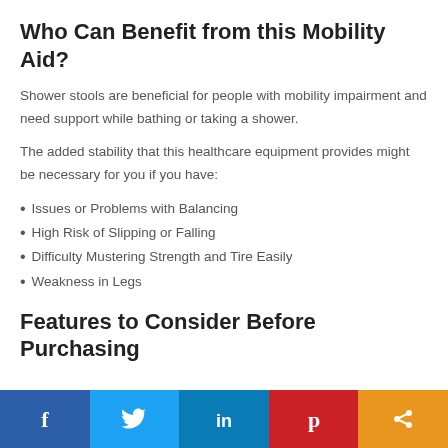Who Can Benefit from this Mobility Aid?
Shower stools are beneficial for people with mobility impairment and need support while bathing or taking a shower.
The added stability that this healthcare equipment provides might be necessary for you if you have:
Issues or Problems with Balancing
High Risk of Slipping or Falling
Difficulty Mustering Strength and Tire Easily
Weakness in Legs
Features to Consider Before Purchasing